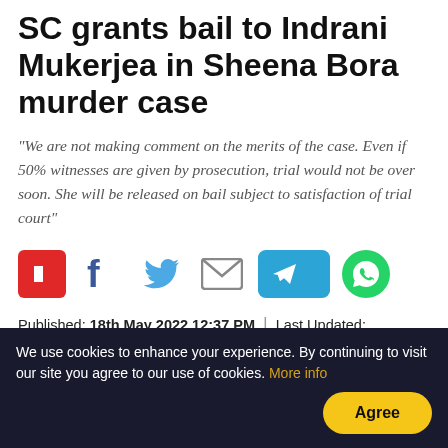SC grants bail to Indrani Mukerjea in Sheena Bora murder case
"We are not making comment on the merits of the case. Even if 50% witnesses are given by prosecution, trial would not be over soon. She will be released on bail subject to satisfaction of trial court"
[Figure (infographic): Social media sharing icons: Flipboard (red), Facebook (f), Twitter (bird), Email (envelope), Telegram (blue rounded rectangle with paper plane), WhatsApp (green circle)]
Published: 18th May 2022 12:37 PM  |  Last Updated: 18th May 2022 02:23 PM
[Figure (photo): Grey background with Supreme Court of India emblem - circular black badge with two crossed flags and lions on either side, partially visible]
We use cookies to enhance your experience. By continuing to visit our site you agree to our use of cookies. More info